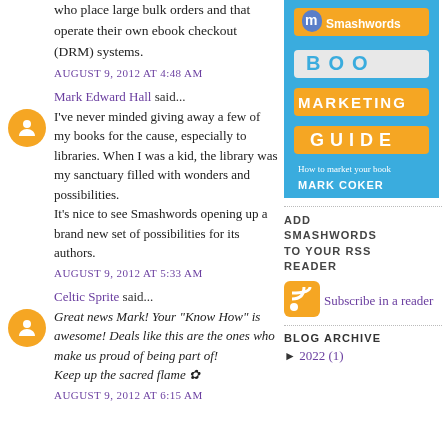who place large bulk orders and that operate their own ebook checkout (DRM) systems.
AUGUST 9, 2012 AT 4:48 AM
Mark Edward Hall said...
I've never minded giving away a few of my books for the cause, especially to libraries. When I was a kid, the library was my sanctuary filled with wonders and possibilities.
It's nice to see Smashwords opening up a brand new set of possibilities for its authors.
AUGUST 9, 2012 AT 5:33 AM
Celtic Sprite said...
Great news Mark! Your "Know How" is awesome! Deals like this are the ones who make us proud of being part of!
Keep up the sacred flame ✿
AUGUST 9, 2012 AT 6:15 AM
[Figure (illustration): Smashwords Book Marketing Guide cover - blue background with orange banner strips showing 'BOOK MARKETING GUIDE' and 'How to market your book' by MARK COKER]
ADD SMASHWORDS TO YOUR RSS READER
[Figure (logo): RSS feed orange icon]
Subscribe in a reader
BLOG ARCHIVE
► 2022 (1)